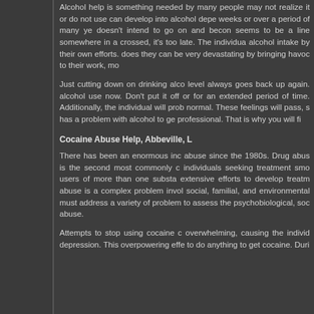Alcohol help is something needed by many people who may not realize it or do not... use can develop into alcohol dependence in weeks or over a period of many years. One doesn't intend to go on and become... seems to be a line somewhere in a... crossed, it's too late. The individual... alcohol intake by their own efforts. does they can be very devastating... by bringing havoc to their work, mo...
Just cutting down on drinking alco... level always goes back up again. alcohol use now. Don't put it off or for an extended period of time. Additionally, the individual will prob... normal. These feelings will pass, s... has a problem with alcohol to ge... professional. That is why you will fi...
Cocaine Abuse Help, Abbeville, L...
There has been an enormous inc... abuse since the 1980s. Drug abus... is the second most commonly c... individuals seeking treatment smo... users of more than one substa... extensive efforts to develop treatm... abuse is a complex problem invol... social, familial, and environmental must address a variety of problem... to assess the psychobiological, soc... abuse.
Attempts to stop using cocaine c... overwhelming, causing the individ... depression. This overpowering effe... to do anything to get cocaine. Duri...